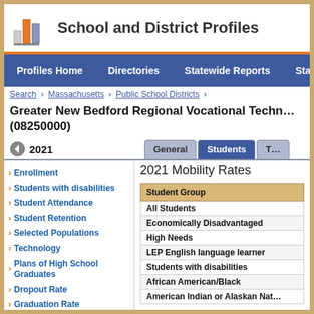[Figure (logo): School and District Profiles logo with bar chart icon]
School and District Profiles
Profiles Home   Directories   Statewide Reports   Sta...
Search > Massachusetts > Public School Districts >
Greater New Bedford Regional Vocational Techn... (08250000)
2021
Enrollment
Students with disabilities
Student Attendance
Student Retention
Selected Populations
Technology
Plans of High School Graduates
Dropout Rate
Graduation Rate
Mobility Rate
MassCore Completion
Attrition Rates
2021 Mobility Rates
| Student Group |
| --- |
| All Students |
| Economically Disadvantaged |
| High Needs |
| LEP English language learner |
| Students with disabilities |
| African American/Black |
| American Indian or Alaskan Nat... |